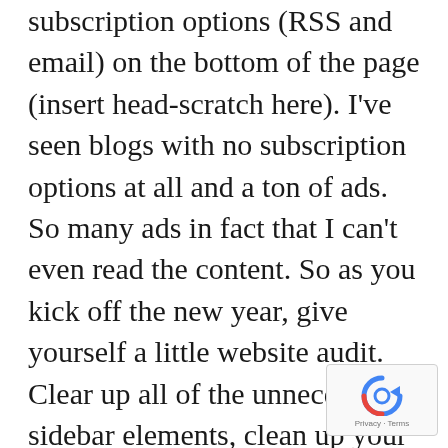subscription options (RSS and email) on the bottom of the page (insert head-scratch here). I've seen blogs with no subscription options at all and a ton of ads. So many ads in fact that I can't even read the content. So as you kick off the new year, give yourself a little website audit. Clear up all of the unnecessary sidebar elements, clean up your navigation and make your Calls To Action more prominent. In short, value your blog real estate.